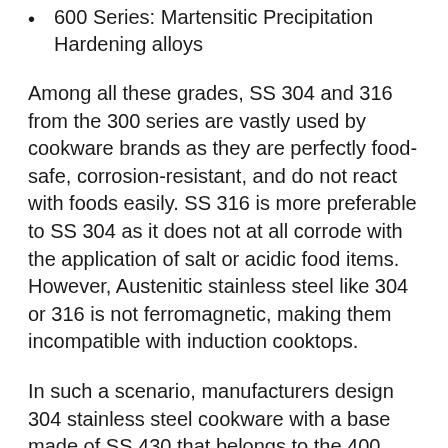600 Series: Martensitic Precipitation Hardening alloys
Among all these grades, SS 304 and 316 from the 300 series are vastly used by cookware brands as they are perfectly food-safe, corrosion-resistant, and do not react with foods easily. SS 316 is more preferable to SS 304 as it does not at all corrode with the application of salt or acidic food items. However, Austenitic stainless steel like 304 or 316 is not ferromagnetic, making them incompatible with induction cooktops.
In such a scenario, manufacturers design 304 stainless steel cookware with a base made of SS 430 that belongs to the 400 series. Most